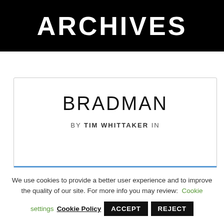ARCHIVES
BRADMAN
BY TIM WHITTAKER IN
We use cookies to provide a better user experience and to improve the quality of our site. For more info you may review: Cookie settings Cookie Policy ACCEPT REJECT